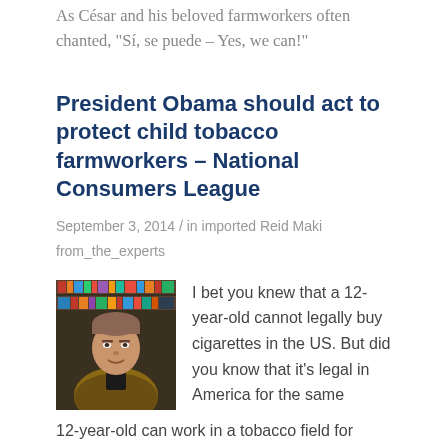As César and his beloved farmworkers often chanted, “Sí, se puede – Yes, we can!”
President Obama should act to protect child tobacco farmworkers – National Consumers League
September 3, 2014 / in imported Reid Maki
from_the_experts
[Figure (photo): Photo of a man (Reid Maki) in front of bookshelves, wearing a dark shirt and brown jacket]
I bet you knew that a 12-year-old cannot legally buy cigarettes in the US. But did you know that it's legal in America for the same 12-year-old can work in a tobacco field for